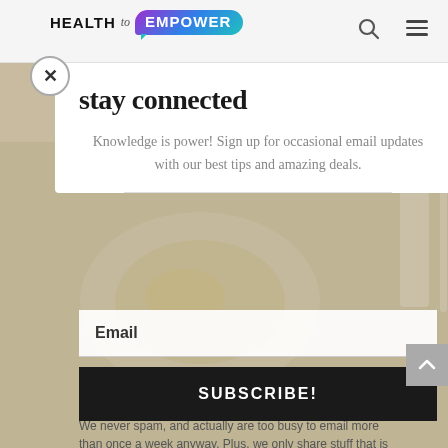HEALTH to EMPOWER
stay connected
Knowledge is power! Sign up for occasional email updates with our best tips and amazing deals.
Email
SUBSCRIBE!
We never spam, and actually are too busy to email more than once a week anyway. Plus, we only share stuff that is super worthwhile and exciting to share <3